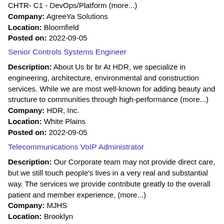CHTR- C1 - DevOps/Platform (more...) Company: AgreeYa Solutions Location: Bloomfield Posted on: 2022-09-05
Senior Controls Systems Engineer
Description: About Us br br At HDR, we specialize in engineering, architecture, environmental and construction services. While we are most well-known for adding beauty and structure to communities through high-performance (more...) Company: HDR, Inc. Location: White Plains Posted on: 2022-09-05
Telecommunications VoIP Administrator
Description: Our Corporate team may not provide direct care, but we still touch people's lives in a very real and substantial way. The services we provide contribute greatly to the overall patient and member experience, (more...) Company: MJHS Location: Brooklyn Posted on: 2022-09-05
Telecommunications VoIP Administrator
Description: Our Corporate team may not provide direct care, but we still touch people's lives in a very real and substantial way. The services we provide contribute greatly to the overall patient and member experience, (more...)